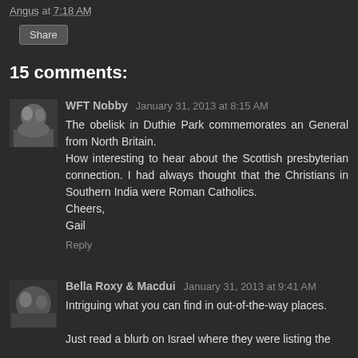Angus at 7:18 AM
Share
15 comments:
WFT Nobby  January 31, 2013 at 8:15 AM
The obelisk in Duthie Park commemorates an General from North Britain.
How interesting to hear about the Scottish presbyterian connection. I had always thought that the Christians in Southern India were Roman Catholics.
Cheers,
Gail
Reply
Bella Roxy & Macdui  January 31, 2013 at 9:41 AM
Intriguing what you can find in out-of-the-way places.
Just read a blurb on Israel where they were listing the